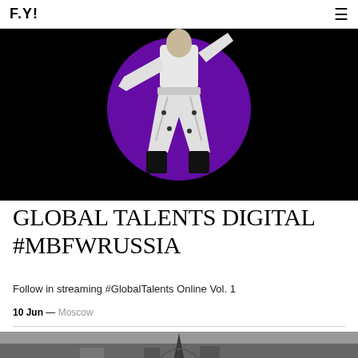F.Y!
[Figure (photo): Fashion model in white outfit with black accents, jumping against a large purple circle on black background]
GLOBAL TALENTS DIGITAL #MBFWRUSSIA
Follow in streaming #GlobalTalents Online Vol. 1
10 Jun — Moscow
[Figure (photo): Black and white aerial cityscape of Moscow with Shukhov Tower visible in the foreground]